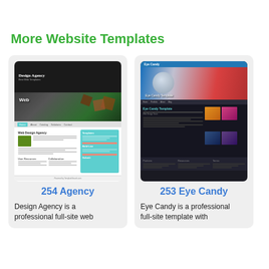More Website Templates
[Figure (screenshot): Screenshot of the 254 Agency website template showing a dark header with 'Design Agency' text, a hero image with 3D brown cubes and a green background, a light-colored body with columns and teal sidebar elements.]
254 Agency
Design Agency is a professional full-site web
[Figure (screenshot): Screenshot of the 253 Eye Candy website template showing a blue header, a large hero image with a water droplet and bokeh on red background, dark body with teal accents, thumbnail images, and a dark footer.]
253 Eye Candy
Eye Candy is a professional full-site template with